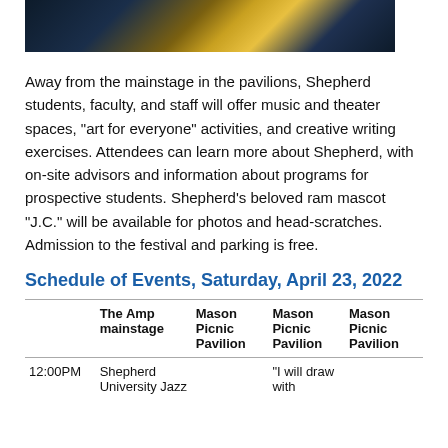[Figure (photo): Partial photo strip showing a person in blue and gold/yellow colors, dark background]
Away from the mainstage in the pavilions, Shepherd students, faculty, and staff will offer music and theater spaces, “art for everyone” activities, and creative writing exercises. Attendees can learn more about Shepherd, with on-site advisors and information about programs for prospective students. Shepherd’s beloved ram mascot “J.C.” will be available for photos and head-scratches. Admission to the festival and parking is free.
Schedule of Events, Saturday, April 23, 2022
|  | The Amp mainstage | Mason Picnic Pavilion | Mason Picnic Pavilion | Mason Picnic Pavilion |
| --- | --- | --- | --- | --- |
| 12:00PM | Shepherd University Jazz |  | “I will draw with |  |